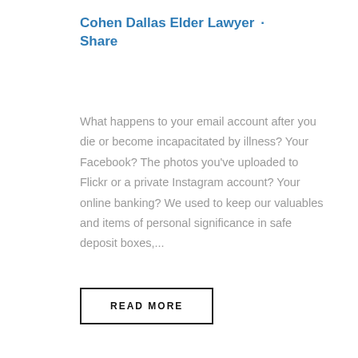Cohen Dallas Elder Lawyer · Share
What happens to your email account after you die or become incapacitated by illness? Your Facebook? The photos you've uploaded to Flickr or a private Instagram account? Your online banking? We used to keep our valuables and items of personal significance in safe deposit boxes,...
READ MORE